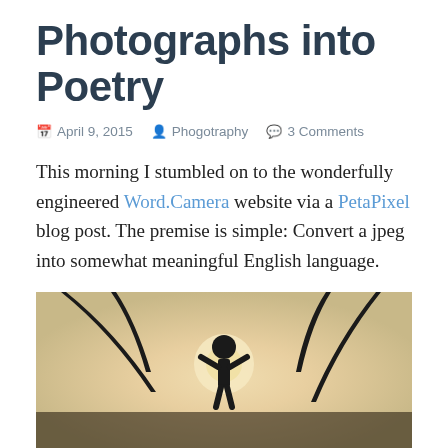Photographs into Poetry
April 9, 2015   Phogotraphy   3 Comments
This morning I stumbled on to the wonderfully engineered Word.Camera website via a PetaPixel blog post. The premise is simple: Convert a jpeg into somewhat meaningful English language.
To test it out I uploaded this small jpeg of my son on top of an abandoned building, silhouetted by the Sun.
[Figure (photo): Silhouette of a child on top of an abandoned building against a bright, hazy sunlit sky, with dark metal pipes or beams visible on either side.]